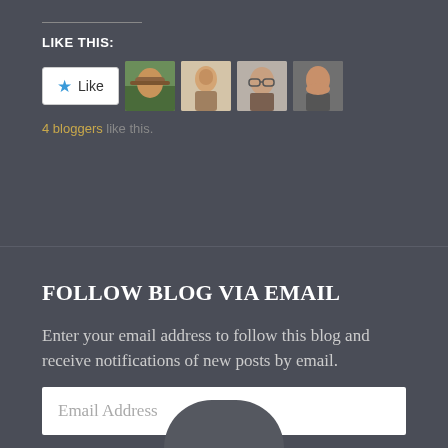LIKE THIS:
[Figure (screenshot): Like button with star icon and 4 blogger avatar thumbnails]
4 bloggers like this.
FOLLOW BLOG VIA EMAIL
Enter your email address to follow this blog and receive notifications of new posts by email.
Email Address